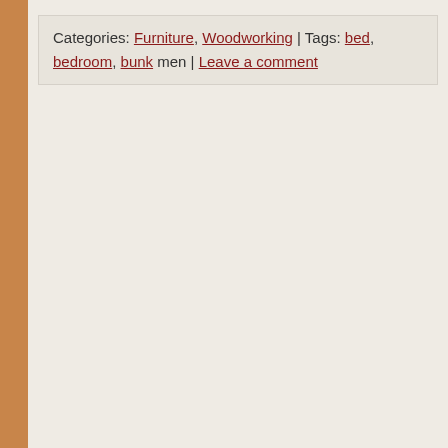Categories: Furniture, Woodworking | Tags: bed, bedroom, bunk men | Leave a comment